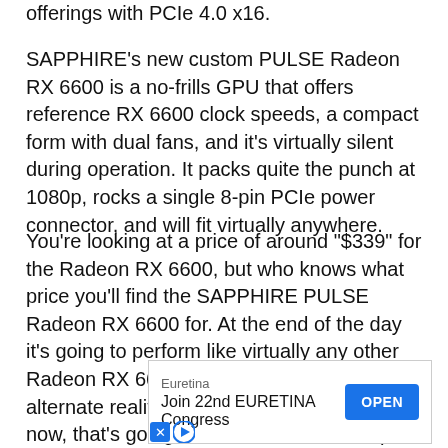offerings with PCIe 4.0 x16.
SAPPHIRE's new custom PULSE Radeon RX 6600 is a no-frills GPU that offers reference RX 6600 clock speeds, a compact form with dual fans, and it's virtually silent during operation. It packs quite the punch at 1080p, rocks a single 8-pin PCIe power connector, and will fit virtually anywhere.
You're looking at a price of around "$339" for the Radeon RX 6600, but who knows what price you'll find the SAPPHIRE PULSE Radeon RX 6600 for. At the end of the day it's going to perform like virtually any other Radeon RX 6600, so whatever ridiculous alternate reality pricing we're paying right now, that's going to come down to what price you're willing to pay at the time you're willing to buy it.
[Figure (other): Advertisement banner for Euretina – Join 22nd EURETINA Congress with an OPEN button]